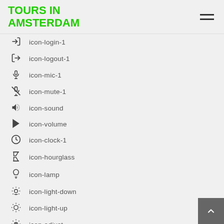TOURS IN AMSTERDAM
icon-login-1
icon-logout-1
icon-mic-1
icon-mute-1
icon-sound
icon-volume
icon-clock-1
icon-hourglass
icon-lamp
icon-light-down
icon-light-up
icon-adjust
icon-block-1
icon-resize-full-1